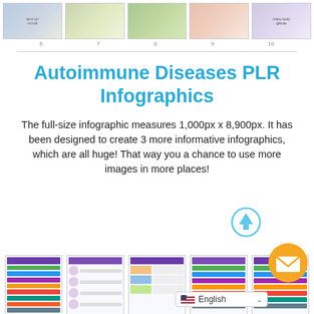[Figure (photo): Row of 5 thumbnail images at the top of the page, each showing health/autoimmune-related photos with caption numbers below]
Autoimmune Diseases PLR Infographics
The full-size infographic measures 1,000px x 8,900px. It has been designed to create 3 more informative infographics, which are all huge! That way you a chance to use more images in more places!
[Figure (screenshot): Row of 5 small infographic preview thumbnails at the bottom of the page, showing autoimmune disease infographic designs in purple/green color schemes]
[Figure (illustration): Up arrow icon (circle with upward arrow) in light blue outline style]
[Figure (illustration): Orange circular mail/envelope button]
[Figure (screenshot): English language selector bar with US flag icon and dropdown caret]